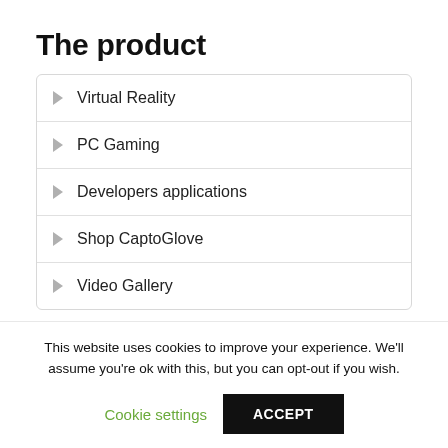The product
Virtual Reality
PC Gaming
Developers applications
Shop CaptoGlove
Video Gallery
Support and news
This website uses cookies to improve your experience. We'll assume you're ok with this, but you can opt-out if you wish.
Cookie settings    ACCEPT